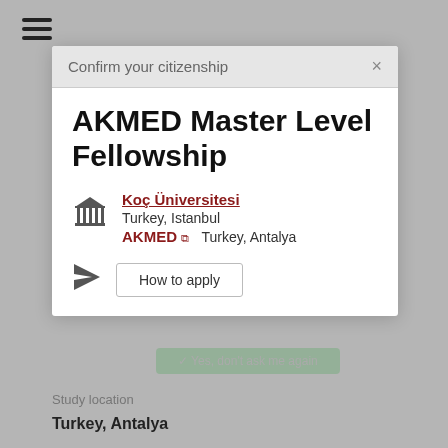[Figure (screenshot): Screenshot of a webpage showing a 'Confirm your citizenship' modal overlay on top of a fellowship listing page. The modal shows 'United States' as the detected citizenship with Yes/No buttons. Behind it is a listing for AKMED Master Level Fellowship at Koç Üniversitesi.]
AKMED Master Level Fellowship
Koç Üniversitesi
Turkey, Istanbul
AKMED  Turkey, Antalya
How to apply
Study location
Turkey, Antalya